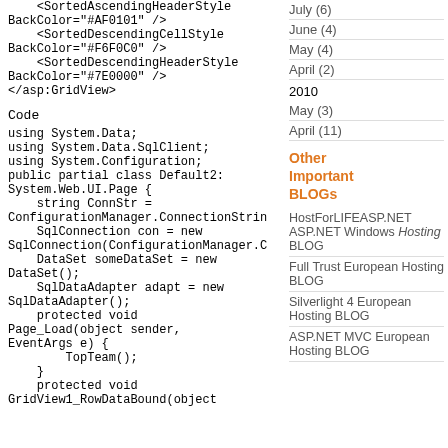BackColor="#AF0101" />
    <SortedDescendingCellStyle
BackColor="#F6F0C0" />
    <SortedDescendingHeaderStyle
BackColor="#7E0000" />
</asp:GridView>
Code
using System.Data;
using System.Data.SqlClient;
using System.Configuration;
public partial class Default2:
System.Web.UI.Page {
    string ConnStr =
ConfigurationManager.ConnectionStrin
    SqlConnection con = new
SqlConnection(ConfigurationManager.C
    DataSet someDataSet = new
DataSet();
    SqlDataAdapter adapt = new
SqlDataAdapter();
    protected void
Page_Load(object sender,
EventArgs e) {
        TopTeam();
    }
    protected void
GridView1_RowDataBound(object
July (6)
June (4)
May (4)
April (2)
2010
May (3)
April (11)
Other Important BLOGs
HostForLIFEASP.NET ASP.NET Windows Hosting BLOG
Full Trust European Hosting BLOG
Silverlight 4 European Hosting BLOG
ASP.NET MVC European Hosting BLOG